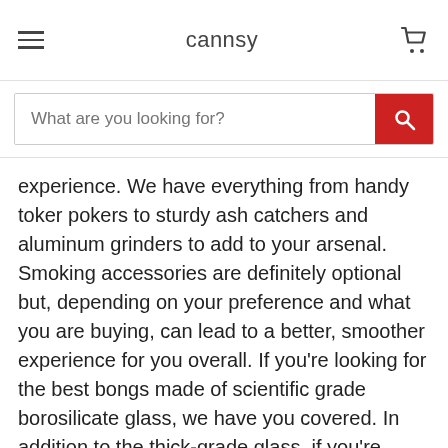cannsy
What are you looking for?
experience. We have everything from handy toker pokers to sturdy ash catchers and aluminum grinders to add to your arsenal. Smoking accessories are definitely optional but, depending on your preference and what you are buying, can lead to a better, smoother experience for you overall. If you're looking for the best bongs made of scientific grade borosilicate glass, we have you covered. In addition to the thick-grade glass, if you're looking for the best pieces made of soft glass, or you simply want to expand your smoking collection at home, we have the best selection for you to choose from. For more information on where to buy bongs on Cannsy, feel free to check out the reviews listed on our product pages.